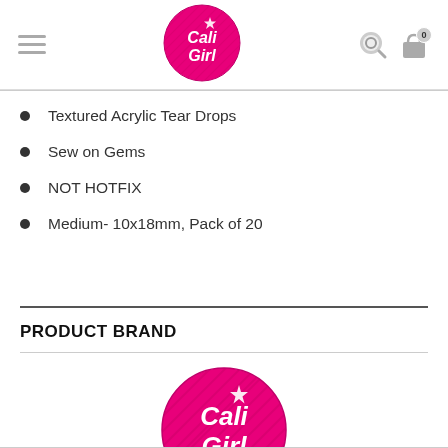[Figure (logo): Cali Girl pink circle logo in page header]
Textured Acrylic Tear Drops
Sew on Gems
NOT HOTFIX
Medium- 10x18mm, Pack of 20
PRODUCT BRAND
[Figure (logo): Cali Girl pink circle logo in product brand section]